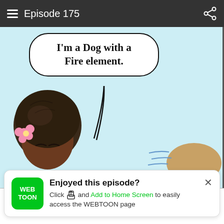Episode 175
[Figure (illustration): Webtoon comic panel showing a speech bubble saying 'I'm a Dog with a Fire element.' above two illustrated characters - a Black woman with natural hair and a pink flower, and another character to the right. Light blue background.]
Enjoyed this episode?
Click [share icon] and Add to Home Screen to easily access the WEBTOON page